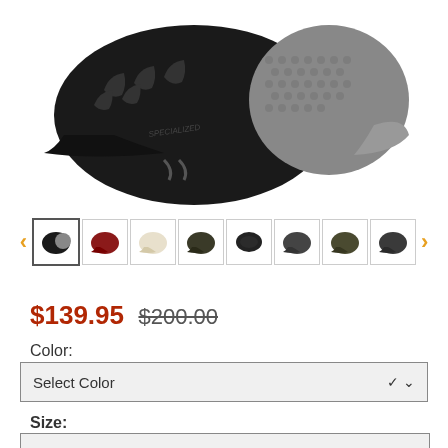[Figure (photo): Specialized mountain bike helmet, black and gray textured finish, side view showing ventilation slots]
[Figure (photo): Row of 8 helmet color thumbnail images: black/gray, red, cream/white, dark olive, black top view, dark gray, olive/green, dark gray side]
$139.95 $200.00
Color:
Select Color
Size: